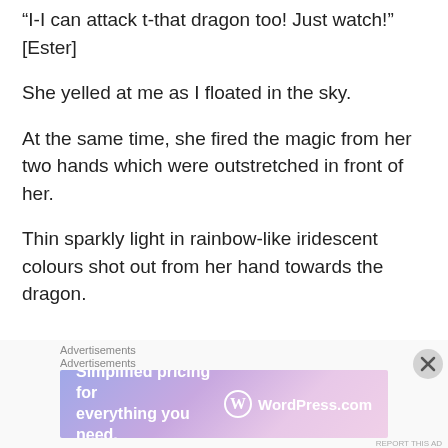“I-I can attack t-that dragon too! Just watch!” [Ester]
She yelled at me as I floated in the sky.
At the same time, she fired the magic from her two hands which were outstretched in front of her.
Thin sparkly light in rainbow-like iridescent colours shot out from her hand towards the dragon.
[Figure (other): WordPress.com advertisement banner with text 'Simplified pricing for everything you need.']